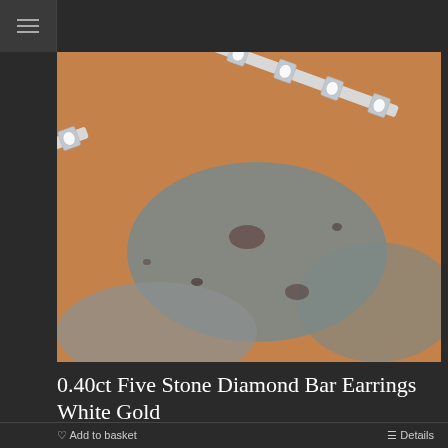[Figure (photo): Close-up photo of two white gold diamond bar earrings with five stones each, laid on a textured stone surface with orange and grey tones.]
0.40ct Five Stone Diamond Bar Earrings White Gold
£650.00
Add to basket   Details